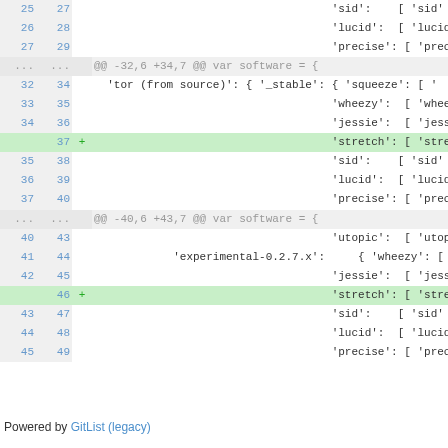[Figure (screenshot): Git diff view showing code lines 25-49 with two added lines (37 and 46) highlighted in green, showing additions of 'stretch' entries to a software configuration object. Two hunk headers visible.]
Powered by GitList (legacy)